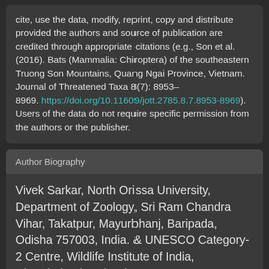cite, use the data, modify, reprint, copy and distribute provided the authors and source of publication are credited through appropriate citations (e.g., Son et al. (2016). Bats (Mammalia: Chiroptera) of the southeastern Truong Son Mountains, Quang Ngai Province, Vietnam. Journal of Threatened Taxa 8(7): 8953–8969. https://doi.org/10.11609/jott.2785.8.7.8953-8969). Users of the data do not require specific permission from the authors or the publisher.
Author Biography
Vivek Sarkar, North Orissa University, Department of Zoology, Sri Ram Chandra Vihar, Takatpur, Mayurbhanj, Baripada, Odisha 757003, India. & UNESCO Category-2 Centre, Wildlife Institute of India, Chandrabani, Dehradun,